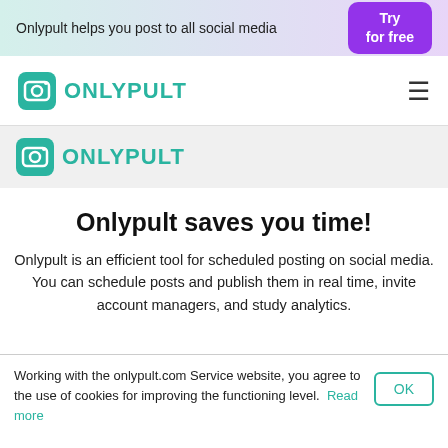Onlypult helps you post to all social media  Try for free
[Figure (logo): Onlypult logo in navbar - teal camera icon with ONLYPULT text]
[Figure (logo): Onlypult logo in content section - teal camera icon with ONLYPULT text]
Onlypult saves you time!
Onlypult is an efficient tool for scheduled posting on social media. You can schedule posts and publish them in real time, invite account managers, and study analytics.
Working with the onlypult.com Service website, you agree to the use of cookies for improving the functioning level. Read more